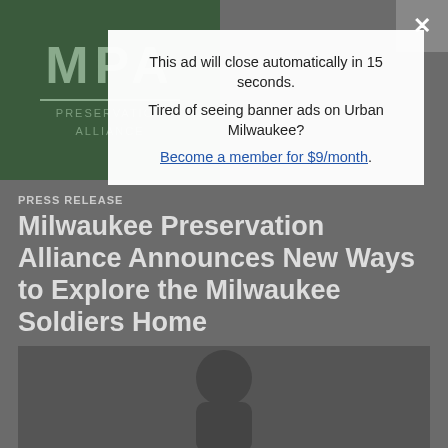[Figure (logo): MPA Milwaukee Preservation Alliance logo on dark green background]
This ad will close automatically in 15 seconds.
Tired of seeing banner ads on Urban Milwaukee?
Become a member for $9/month.
PRESS RELEASE
Milwaukee Preservation Alliance Announces New Ways to Explore the Milwaukee Soldiers Home
Free walking tour app gets a facelift, in-person group tours now available
May 23rd, 2022 by Milwaukee Preservation Alliance
[Figure (photo): Partial image of a person or statue at the bottom of the page]